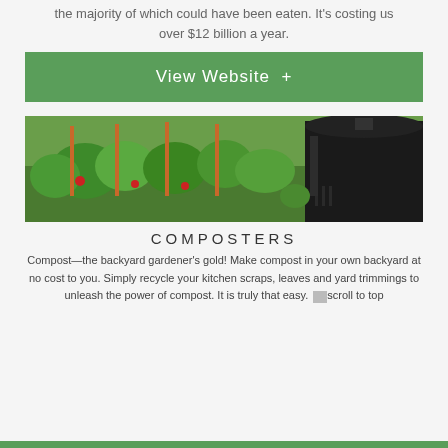the majority of which could have been eaten. It's costing us over $12 billion a year.
View Website +
[Figure (photo): A garden scene with green plants and tall orange stakes, with a large black compost bin on the right side.]
COMPOSTERS
Compost—the backyard gardener's gold! Make compost in your own backyard at no cost to you. Simply recycle your kitchen scraps, leaves and yard trimmings to unleash the power of compost. It is truly that easy.